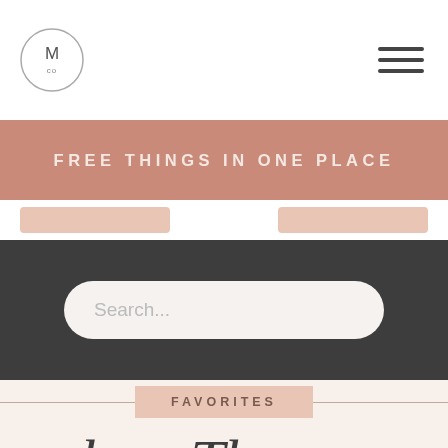[Figure (logo): Circular logo with stylized M and co text inside]
[Figure (illustration): Hamburger menu icon (three horizontal lines)]
FREE THINGS IN ONE PLACE
[Figure (illustration): Two blush/salmon colored placeholder strips below banner]
Search...
FAVORITES
[Figure (illustration): Script/cursive text partially visible at bottom]